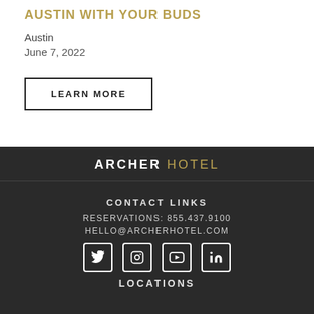AUSTIN WITH YOUR BUDS
Austin
June 7, 2022
LEARN MORE
ARCHER HOTEL
CONTACT LINKS
RESERVATIONS: 855.437.9100
HELLO@ARCHERHOTEL.COM
[Figure (other): Social media icons: Twitter, Instagram, YouTube, LinkedIn]
LOCATIONS